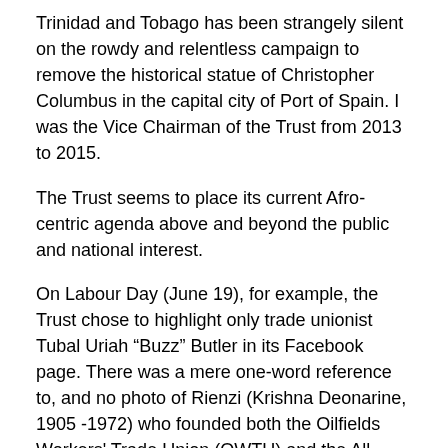Trinidad and Tobago has been strangely silent on the rowdy and relentless campaign to remove the historical statue of Christopher Columbus in the capital city of Port of Spain. I was the Vice Chairman of the Trust from 2013 to 2015.
The Trust seems to place its current Afro-centric agenda above and beyond the public and national interest.
On Labour Day (June 19), for example, the Trust chose to highlight only trade unionist Tubal Uriah “Buzz” Butler in its Facebook page. There was a mere one-word reference to, and no photo of Rienzi (Krishna Deonarine, 1905 -1972) who founded both the Oilfields Workers' Trade Union (OWTU) and the All Trinidad Sugar Estates and Factory Workers' Union (ATSEFWU) and was the OWTU's first President General.
Citizens for Conservation
The Trust is genetically connected to the Citizens for